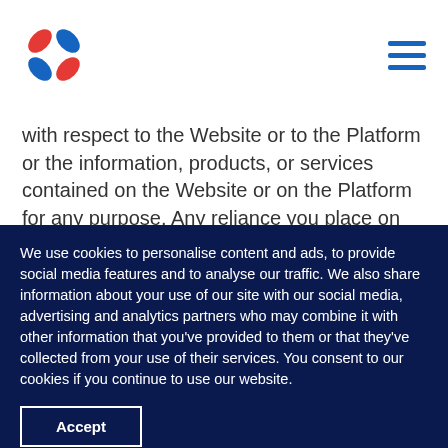[Figure (logo): Four-petal pinwheel logo with red and blue teardrop shapes]
with respect to the Website or to the Platform or the information, products, or services contained on the Website or on the Platform for any purpose. Any reliance you place on such information is therefore strictly at your own risk.
We use cookies to personalise content and ads, to provide social media features and to analyse our traffic. We also share information about your use of our site with our social media, advertising and analytics partners who may combine it with other information that you've provided to them or that they've collected from your use of their services. You consent to our cookies if you continue to use our website.
Accept
Learn More